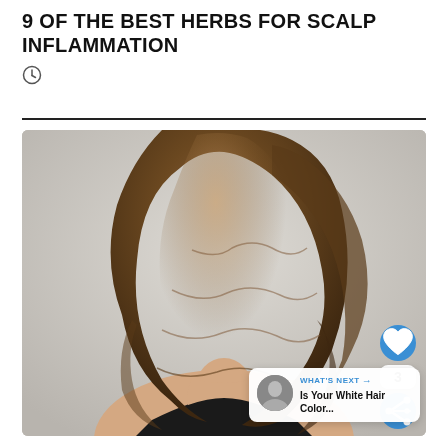9 OF THE BEST HERBS FOR SCALP INFLAMMATION
[Figure (photo): Woman viewed from the back showing long, wavy, glossy brown hair against a light gray background, wearing a black strapless top. Overlaid with a blue heart/like button showing count of 3, a share button, and a 'WHAT'S NEXT' card showing 'Is Your White Hair Color...' with a small portrait thumbnail.]